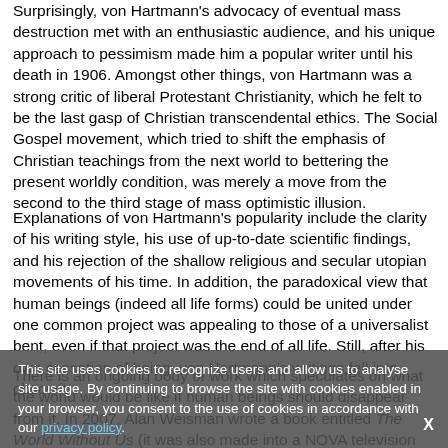Surprisingly, von Hartmann's advocacy of eventual mass destruction met with an enthusiastic audience, and his unique approach to pessimism made him a popular writer until his death in 1906. Amongst other things, von Hartmann was a strong critic of liberal Protestant Christianity, which he felt to be the last gasp of Christian transcendental ethics. The Social Gospel movement, which tried to shift the emphasis of Christian teachings from the next world to bettering the present worldly condition, was merely a move from the second to the third stage of mass optimistic illusion.
Explanations of von Hartmann's popularity include the clarity of his writing style, his use of up-to-date scientific findings, and his rejection of the shallow religious and secular utopian movements of his time. In addition, the paradoxical view that human beings (indeed all life forms) could be united under one common project was appealing to those of a universalist bent, even if that project was the end of all life. Still, after his own cessation of being, von Hartmann's writings fell into obscurity.
There is an ongoing body of work which speculates on what the world would be like if human beings should disappear from it. In 2007, Alan Weisman wrote a book entitled The World Without Us (it was also made into a NOVA television special in 2009). In it he imagines in great detail how various life-forms would evolve and thrive, before the Earth itself finally ceases to be. Surprisingly, given its rather bleak
This site uses cookies to recognize users and allow us to analyse site usage. By continuing to browse the site with cookies enabled in your browser, you consent to the use of cookies in accordance with our privacy policy.